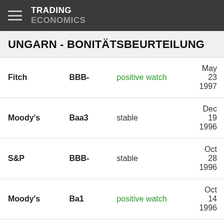TRADING ECONOMICS
UNGARN - BONITÄTSBEURTEILUNG
| Agency | Rating | Outlook | Date |
| --- | --- | --- | --- |
| Fitch | BBB- | positive watch | May 23 1997 |
| Moody's | Baa3 | stable | Dec 19 1996 |
| S&P | BBB- | stable | Oct 28 1996 |
| Moody's | Ba1 | positive watch | Oct 14 1996 |
| Fitch | BBB- | n/a | Apr 25 1996 |
| S&P | BB+ | stable | Feb 01 1996 |
| S&P | BB+ | negative | Apr 11 1995 |
| S&P | BB+ | stable | Apr 15 1994 |
| S&P | BB+ | positive | Apr 20 1992 |
| Moody's | Ba1 | stable | Jul 12 1990 |